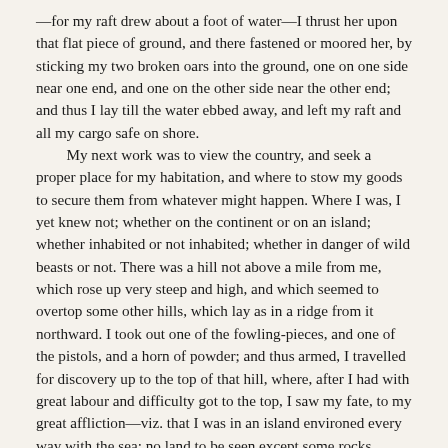—for my raft drew about a foot of water—I thrust her upon that flat piece of ground, and there fastened or moored her, by sticking my two broken oars into the ground, one on one side near one end, and one on the other side near the other end; and thus I lay till the water ebbed away, and left my raft and all my cargo safe on shore.
	My next work was to view the country, and seek a proper place for my habitation, and where to stow my goods to secure them from whatever might happen. Where I was, I yet knew not; whether on the continent or on an island; whether inhabited or not inhabited; whether in danger of wild beasts or not. There was a hill not above a mile from me, which rose up very steep and high, and which seemed to overtop some other hills, which lay as in a ridge from it northward. I took out one of the fowling-pieces, and one of the pistols, and a horn of powder; and thus armed, I travelled for discovery up to the top of that hill, where, after I had with great labour and difficulty got to the top, I saw my fate, to my great affliction—viz. that I was in an island environed every way with the sea: no land to be seen except some rocks, which lay a great way off; and two small islands, less than this, which lay about three leagues to the west.
	I found also that the island I was in was barren, and, as I saw good reason to believe, uninhabited except by wild beasts, of whom, however, I saw none. Yet I saw abundance of fowls, but knew not their kinds, neither when I killed them, could I tell what was fit for food, and